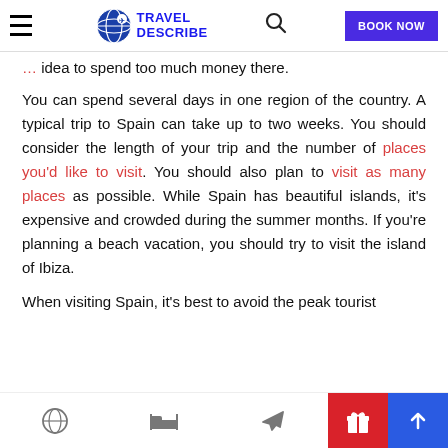Travel Describe — navigation bar with logo, search, and BOOK NOW button
idea to spend too much money there.
You can spend several days in one region of the country. A typical trip to Spain can take up to two weeks. You should consider the length of your trip and the number of places you'd like to visit. You should also plan to visit as many places as possible. While Spain has beautiful islands, it's expensive and crowded during the summer months. If you're planning a beach vacation, you should try to visit the island of Ibiza.
When visiting Spain, it's best to avoid the peak tourist
Bottom navigation bar with globe, bed, plane, gift, and up-arrow icons